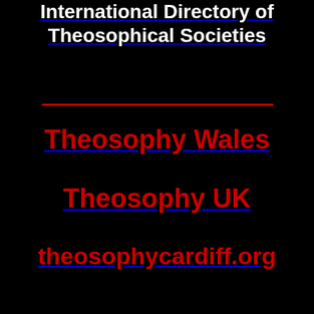International Directory of Theosophical Societies
Theosophy Wales
Theosophy UK
theosophycardiff.org